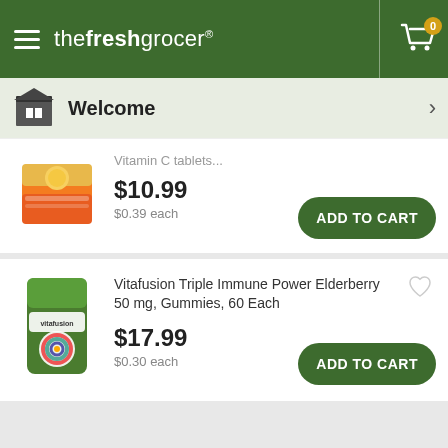the fresh grocer
Welcome
[Figure (photo): Partially visible product image with orange/vitamin C packaging]
$10.99
$0.39 each
[Figure (photo): Vitafusion Triple Immune Power Elderberry 50mg gummies bottle, green label with colorful design]
Vitafusion Triple Immune Power Elderberry 50 mg, Gummies, 60 Each
$17.99
$0.30 each
1